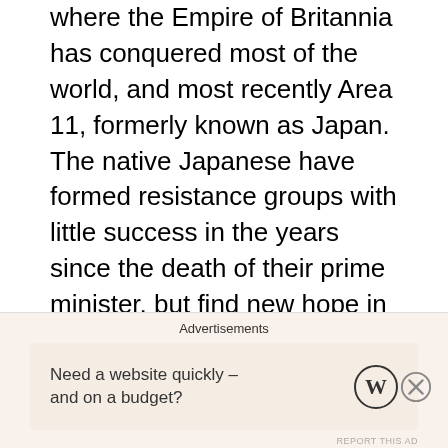where the Empire of Britannia has conquered most of the world, and most recently Area 11, formerly known as Japan. The native Japanese have formed resistance groups with little success in the years since the death of their prime minister, but find new hope in the rise of Zero, a masked hero leading the group known as the Black Knights. Zero is able to pull off miracles, rescuing the prime minister's son, Suzaku, and winning multiple battles against overwhelming odds.
What the Empire and the rebels don't know is that Zero is actually Lelouch vi Britannia, the exiled son of the emperor. Lelouch, after making a
Advertisements
Need a website quickly – and on a budget?